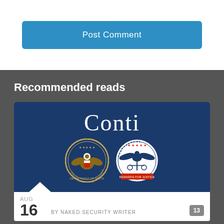Post Comment
Recommended reads
[Figure (screenshot): Article card image on dark blue background showing the word 'Conti' in large white serif text above two circular government seals: the US Department of State seal and the Rewards for Justice seal.]
AUG 16 BY NAKED SECURITY WRITER 13